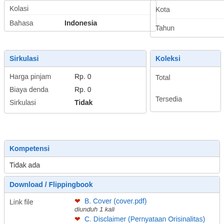| Label | Value |
| --- | --- |
| Kolasi |  |
| Bahasa | Indonesia |
| Label | Value |
| --- | --- |
| Kota |  |
| Tahun |  |
Sirkulasi
| Label | Value |
| --- | --- |
| Harga pinjam | Rp. 0 |
| Biaya denda | Rp. 0 |
| Sirkulasi | Tidak |
Koleksi
| Label | Value |
| --- | --- |
| Total |  |
| Tersedia |  |
Kompetensi
Tidak ada
Download / Flippingbook
Link file
B. Cover (cover.pdf)
diunduh 1 kali
C. Disclaimer (Pernyataan Orisinalitas)